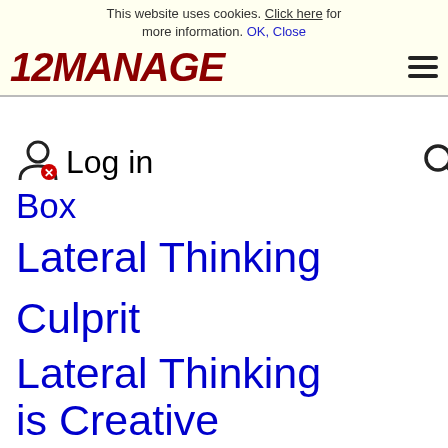This website uses cookies. Click here for more information. OK, Close
12MANAGE
Box  Log in
Lateral Thinking
Culprit
Lateral Thinking is Creative Thinking